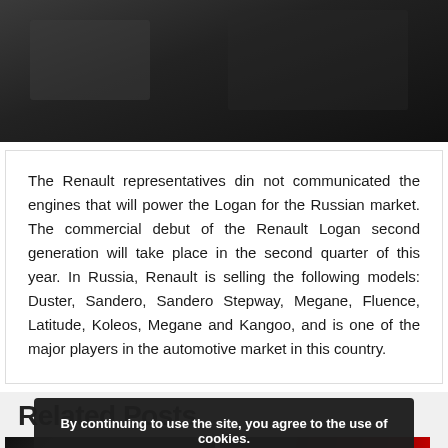[Figure (photo): Car interior photo showing dashboard and seats, dark/grayscale image]
The Renault representatives din not communicated the engines that will power the Logan for the Russian market. The commercial debut of the Renault Logan second generation will take place in the second quarter of this year. In Russia, Renault is selling the following models: Duster, Sandero, Sandero Stepway, Megane, Fluence, Latitude, Koleos, Megane and Kangoo, and is one of the major players in the automotive market in this country.
Related Posts
[Figure (photo): Dark car photo thumbnail on left]
[Figure (photo): Red car photo thumbnail on right]
By continuing to use the site, you agree to the use of cookies.
more information
Accept